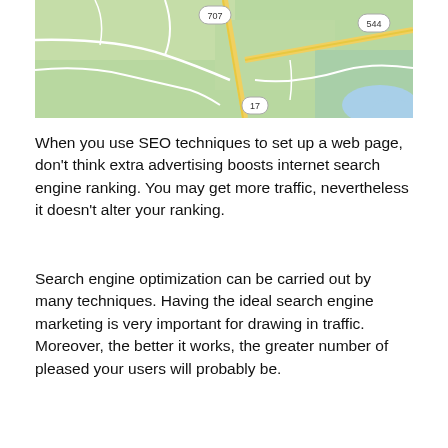[Figure (map): A Google Maps-style road map showing green areas, roads including routes 707, 544, and 17, and a water body in the lower right corner.]
When you use SEO techniques to set up a web page, don't think extra advertising boosts internet search engine ranking. You may get more traffic, nevertheless it doesn't alter your ranking.
Search engine optimization can be carried out by many techniques. Having the ideal search engine marketing is very important for drawing in traffic. Moreover, the better it works, the greater number of pleased your users will probably be.